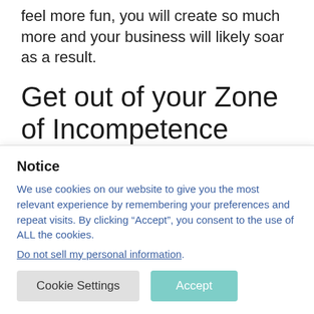feel more fun, you will create so much more and your business will likely soar as a result.
Get out of your Zone of Incompetence
So you've heard me talk about your zone of genius which is the thing you
Notice
We use cookies on our website to give you the most relevant experience by remembering your preferences and repeat visits. By clicking “Accept”, you consent to the use of ALL the cookies.
Do not sell my personal information.